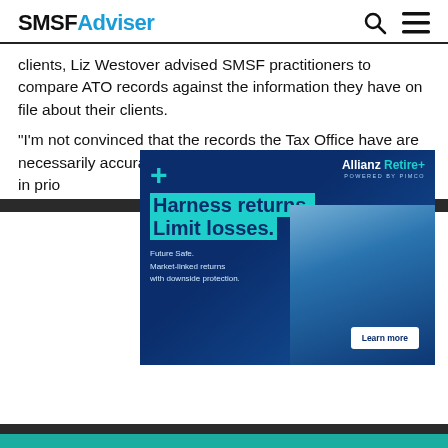SMSFAdviser
clients, Liz Westover advised SMSF practitioners to compare ATO records against the information they have on file about their clients.
“I’m not convinced that the records the Tax Office have are necessarily accurate. Now I say that in good faith because in prio... e was misrep...
[Figure (advertisement): Allianz Retire+ advertisement powered by PIMCO. Shows an older man in blue shirt. Text: Harness returns. Limit losses. Future Safe. Market-linked returns with downside protection. Learn more button.]
[Figure (advertisement): Aquila Super advertisement. THE PREFERRED SMSF AUDIT EXPERTS. All Australian (no offshoring).]